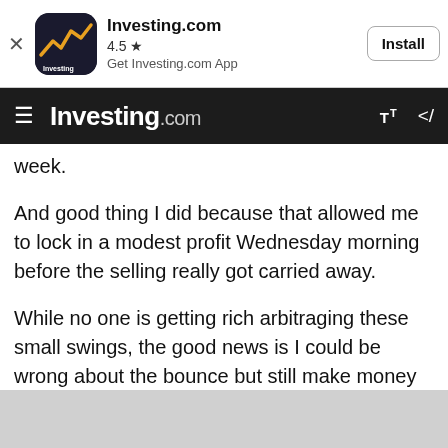[Figure (screenshot): Investing.com app install banner with app icon, 4.5 star rating, and Install button]
Investing.com
week.
And good thing I did because that allowed me to lock in a modest profit Wednesday morning before the selling really got carried away.
While no one is getting rich arbitraging these small swings, the good news is I could be wrong about the bounce but still make money on the trade. It is hard to beat that risk/reward!
If I'm right, I make a big pile of money. If I'm wrong, I make a small pile of money. I will take those trades...